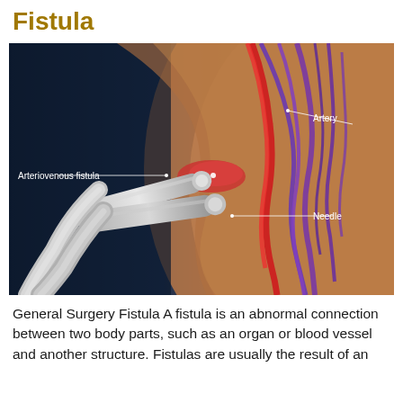Fistula
[Figure (illustration): Medical illustration of an arteriovenous fistula showing a cross-section of an arm with labeled anatomical structures: Artery (upper right), Arteriovenous fistula (left center), and Needle (lower right). Two dialysis needles are inserted into the fistula, with red (artery) and purple (vein) vessels visible beneath the skin surface.]
General Surgery Fistula A fistula is an abnormal connection between two body parts, such as an organ or blood vessel and another structure. Fistulas are usually the result of an